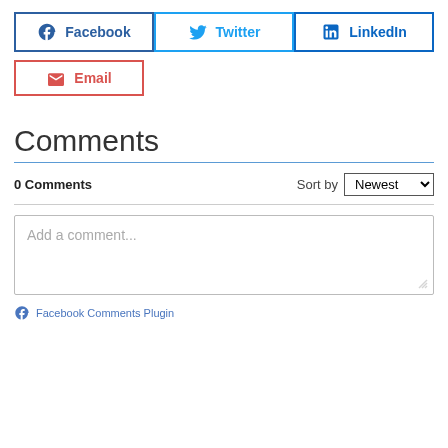[Figure (screenshot): Social share buttons: Facebook, Twitter, LinkedIn (blue bordered buttons in a row), and Email (red bordered button below)]
Comments
0 Comments
Sort by Newest
Add a comment...
Facebook Comments Plugin